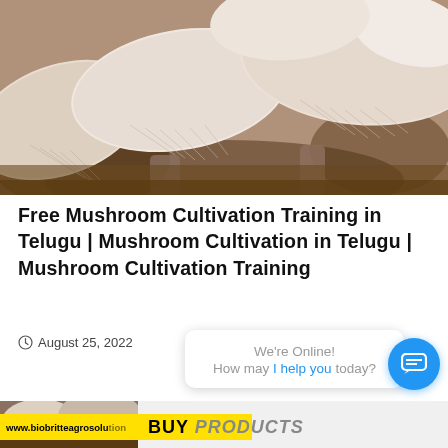[Figure (photo): Close-up photograph of white/beige oyster mushrooms clustered together, showing their fan-shaped caps and gills]
Free Mushroom Cultivation Training in Telugu | Mushroom Cultivation in Telugu | Mushroom Cultivation Training
August 25, 2022
[Figure (screenshot): Chat widget popup showing 'We're Online! How may I help you today?' with a blue chat bubble icon]
www.biobritteagrosolution... BUY PRODUCTS